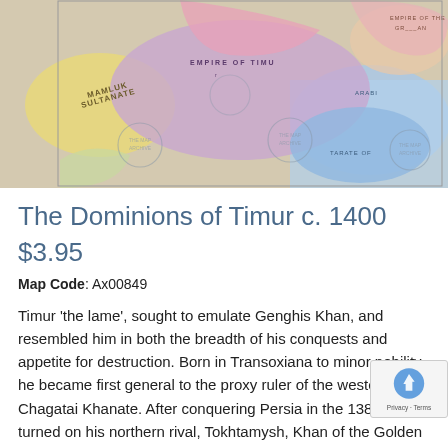[Figure (map): Historical map showing the Dominions of Timur c. 1400, with colored regions depicting the Empire of Timur, Mamluk Sultanate, and surrounding territories. The map has watermark overlays reading 'THE MAP ARCHIVE'.]
The Dominions of Timur c. 1400
$3.95
Map Code: Ax00849
Timur 'the lame', sought to emulate Genghis Khan, and resembled him in both the breadth of his conquests and appetite for destruction. Born in Transoxiana to minor nobility, he became first general to the proxy ruler of the western Chagatai Khanate. After conquering Persia in the 1380s, he turned on his northern rival, Tokhtamysh, Khan of the Golden Horde, destroying his capital at New Sarai in 1395. He then moved against the Tughlaq dynasty in India in 1398, capturing first Multan, then Delhi. In 1399–1400, he captured Baghdad and invaded Armenia, the Mamluk Sultanate, and, for good